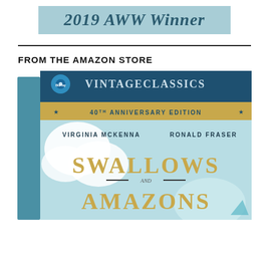[Figure (illustration): 2019 AWW Winner banner with teal/light blue background and italic bold dark teal text reading '2019 AWW Winner']
FROM THE AMAZON STORE
[Figure (photo): Blu-ray box set of 'Swallows and Amazons' Vintage Classics 40th Anniversary Edition, featuring Virginia McKenna and Ronald Fraser, with a teal sky and cloud design on the cover.]